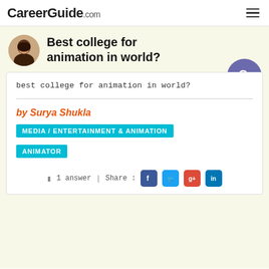CareerGuide.com
Best college for animation in world?
best college for animation in world?
by Surya Shukla
MEDIA / ENTERTAINMENT & ANIMATION
ANIMATOR
1 answer | Share :